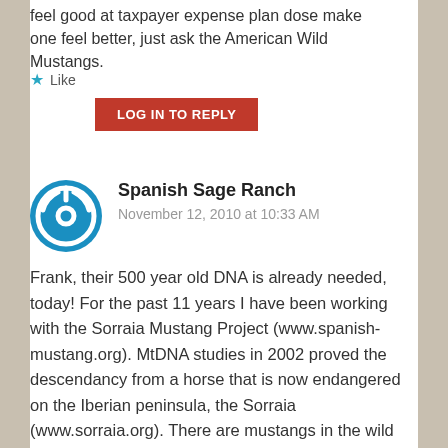feel good at taxpayer expense plan dose make one feel better, just ask the American Wild Mustangs.
★ Like
LOG IN TO REPLY
Spanish Sage Ranch
November 12, 2010 at 10:33 AM
Frank, their 500 year old DNA is already needed, today! For the past 11 years I have been working with the Sorraia Mustang Project (www.spanish-mustang.org). MtDNA studies in 2002 proved the descendancy from a horse that is now endangered on the Iberian peninsula, the Sorraia (www.sorraia.org). There are mustangs in the wild that look identicle to those horses, and the project centers on preserving them so that they can be used